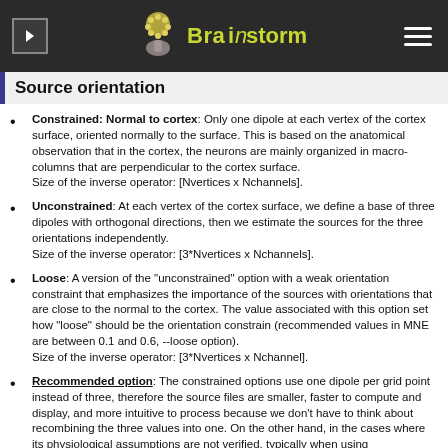Brainstorm
Source orientation
Constrained: Normal to cortex: Only one dipole at each vertex of the cortex surface, oriented normally to the surface. This is based on the anatomical observation that in the cortex, the neurons are mainly organized in macro-columns that are perpendicular to the cortex surface. Size of the inverse operator: [Nvertices x Nchannels].
Unconstrained: At each vertex of the cortex surface, we define a base of three dipoles with orthogonal directions, then we estimate the sources for the three orientations independently. Size of the inverse operator: [3*Nvertices x Nchannels].
Loose: A version of the "unconstrained" option with a weak orientation constraint that emphasizes the importance of the sources with orientations that are close to the normal to the cortex. The value associated with this option set how "loose" should be the orientation constrain (recommended values in MNE are between 0.1 and 0.6, --loose option). Size of the inverse operator: [3*Nvertices x Nchannel].
Recommended option: The constrained options use one dipole per grid point instead of three, therefore the source files are smaller, faster to compute and display, and more intuitive to process because we don't have to think about recombining the three values into one. On the other hand, in the cases where its physiological assumptions are not verified, typically when using